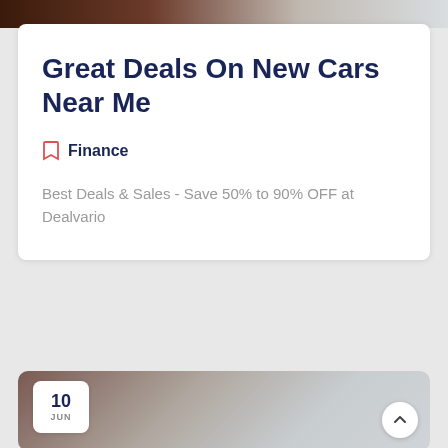[Figure (photo): Dark gradient banner image at the top, transitioning from dark brown to light grey]
Great Deals On New Cars Near Me
Finance
Best Deals & Sales - Save 50% to 90% OFF at Dealvario
[Figure (photo): Brown to grey gradient image card at the bottom with a date badge showing '10 JUN' and a scroll-to-top arrow button]